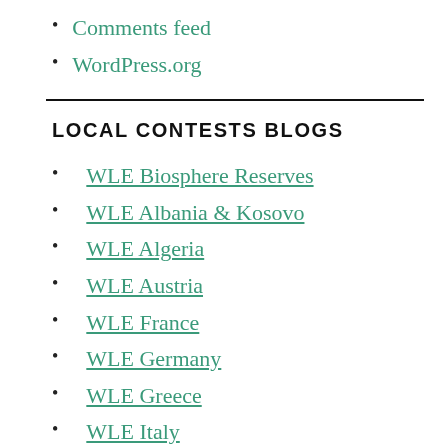Comments feed
WordPress.org
LOCAL CONTESTS BLOGS
WLE Biosphere Reserves
WLE Albania & Kosovo
WLE Algeria
WLE Austria
WLE France
WLE Germany
WLE Greece
WLE Italy
WLE India